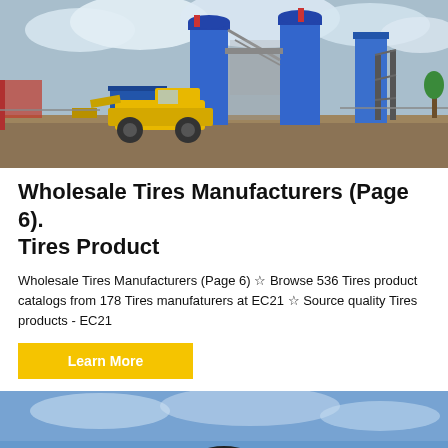[Figure (photo): Industrial concrete mixing plant with blue silos and a yellow front loader, outdoor setting with cloudy sky.]
Wholesale Tires Manufacturers (Page 6). Tires Product
Wholesale Tires Manufacturers (Page 6) ☆ Browse 536 Tires product catalogs from 178 Tires manufaturers at EC21 ☆ Source quality Tires products - EC21
[Figure (photo): Partial view of a black tire/wheel product against a blue sky background, with a dark circular scroll-to-top button overlay.]